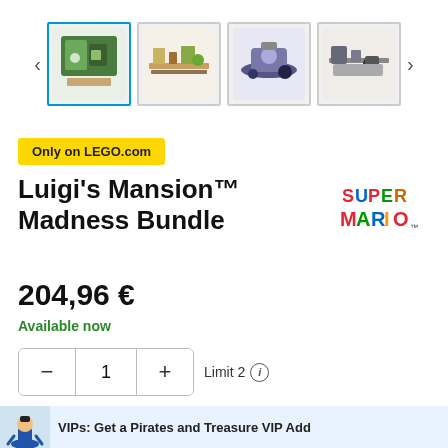[Figure (screenshot): Product image carousel showing 4 thumbnail images of Luigi's Mansion LEGO sets, with left and right navigation arrows. First thumbnail is selected with a blue border.]
Only on LEGO.com
Luigi's Mansion™ Madness Bundle
[Figure (logo): Super Mario logo in colorful letters - red, blue, yellow, green]
204,96 €
Available now
1  Limit 2 (i)
Add to Bag
VIPs: Get a Pirates and Treasure VIP Add